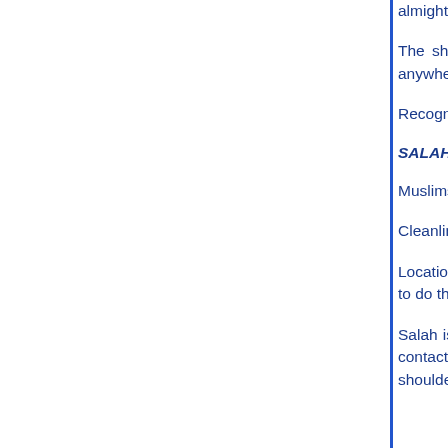almighty Allah and I bear wintenss tha...
The shahadah should be done in the p of faith. However, if there are no Musl or even out loud anywhere, as Almigh over everything.
Recognizing and acknowledging the core of Islam.
SALAH or "Prayers":
Muslims must perform five daily "sala simliar to dawn, noon, afternoon, suns
Cleanliness is important, so washing the body. The area for the salah shoul
Location and direction are also taken i toward Mekkah, the salah can be done is preferred for the men to do their sal women to preform their salah at home
Salah is one of the ways Islam demon remind us that we are all the same un all of us need to make contact and c bounties and repent for our sins. Race rank considered by humans to be of i together, shoulder to shoulder and bow the ground we all become alike as...